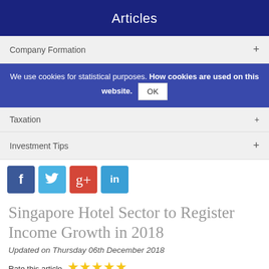Articles
Company Formation +
We use cookies for statistical purposes. How cookies are used on this website. OK
Taxation +
Investment Tips +
[Figure (infographic): Social media icons: Facebook (blue), Twitter (light blue), Google+ (red), LinkedIn (blue)]
Singapore Hotel Sector to Register Income Growth in 2018
Updated on Thursday 06th December 2018
Rate this article ★★★★★ based on 2 reviews